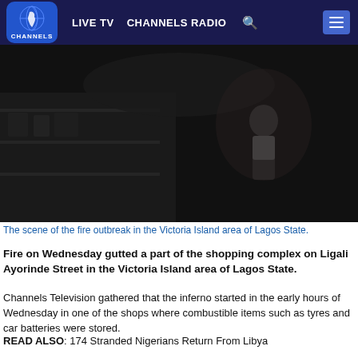LIVE TV  CHANNELS RADIO
[Figure (photo): Dark scene of fire outbreak at a shopping complex, showing a person in a dimly lit environment]
The scene of the fire outbreak in the Victoria Island area of Lagos State.
Fire on Wednesday gutted a part of the shopping complex on Ligali Ayorinde Street in the Victoria Island area of Lagos State.
Channels Television gathered that the inferno started in the early hours of Wednesday in one of the shops where combustible items such as tyres and car batteries were stored.
READ ALSO: 174 Stranded Nigerians Return From Libya
The South-West Coordinator, National Emergency Management Agency, Mr Ibrahim Farinloye, confirmed the incident.
He said the fire has been brought under control after officials of the state and Federal Fire Services battled to put it out.
The cause of the fire, which has not been determined, for it is now on an investigation.